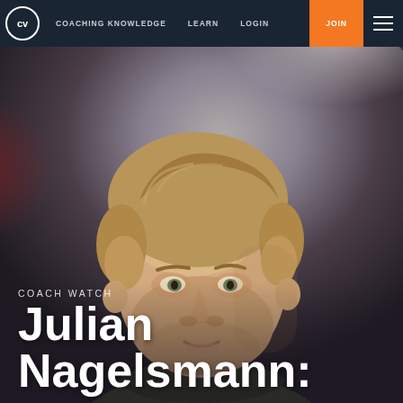CV | COACHING KNOWLEDGE | LEARN | LOGIN | JOIN
[Figure (photo): Close-up photo of Julian Nagelsmann, a young male football coach with short sandy hair, wearing an olive/dark green jacket, against a blurred stadium background with red and grey tones.]
COACH WATCH
Julian Nagelsmann: